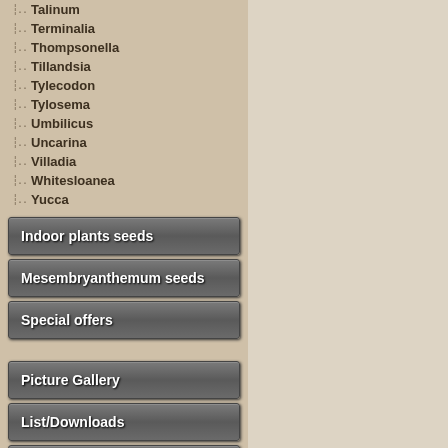Talinum
Terminalia
Thompsonella
Tillandsia
Tylecodon
Tylosema
Umbilicus
Uncarina
Villadia
Whitesloanea
Yucca
Indoor plants seeds
Mesembryanthemum seeds
Special offers
Picture Gallery
List/Downloads
Sowing Instructions
Shipping & Returns